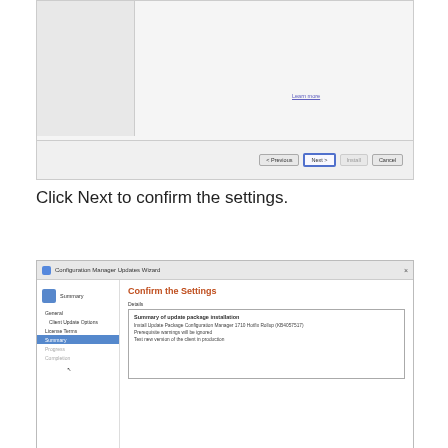[Figure (screenshot): Top portion of a Configuration Manager Updates Wizard dialog showing a previous step with Learn more link and navigation buttons (< Previous, Next >, grayed Install, Cancel) at the bottom.]
Click Next to confirm the settings.
[Figure (screenshot): Configuration Manager Updates Wizard dialog showing the Summary step with 'Confirm the Settings' heading. Left nav shows: General, Client Update Options, License Terms, Summary (selected/highlighted), Progress, Completion. Right panel shows Details area with 'Summary of update package installation' bold text and three lines: 'Install Update Package Configuration Manager 1710 Hotfix Rollup (KB4057517)', 'Prerequisite warnings will be ignored', 'Test new version of the client in production'.]